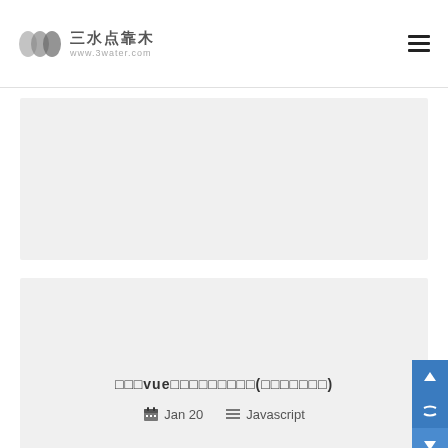三水点靠木 www.3water.com
[Figure (screenshot): Top gray card area, partially visible]
□□□vue□□□□□□□□□(□□□□□□□)
Jan 20   Javascript
[Figure (screenshot): Bottom gray card area, partially visible]